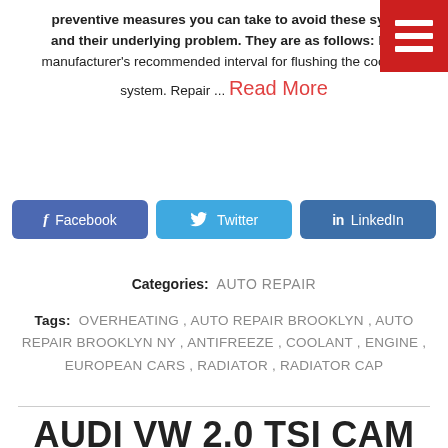preventive measures you can take to avoid these symptoms and their underlying problem. They are as follows: Follow manufacturer's recommended interval for flushing the cooling system. Repair ... Read More
[Figure (other): Red hamburger menu button in top-right corner]
Facebook  Twitter  LinkedIn
Categories: AUTO REPAIR
Tags: OVERHEATING , AUTO REPAIR BROOKLYN , AUTO REPAIR BROOKLYN NY , ANTIFREEZE , COOLANT , ENGINE , EUROPEAN CARS , RADIATOR , RADIATOR CAP
AUDI VW 2.0 TSI CAM BRIDGE SCREEN PROBLEM